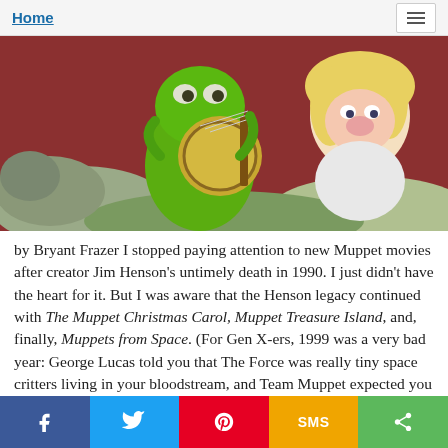Home
[Figure (photo): Kermit the Frog playing a banjo with Miss Piggy in the background, colorful Muppet scene]
by Bryant Frazer I stopped paying attention to new Muppet movies after creator Jim Henson's untimely death in 1990. I just didn't have the heart for it. But I was aware that the Henson legacy continued with The Muppet Christmas Carol, Muppet Treasure Island, and, finally, Muppets from Space. (For Gen X-ers, 1999 was a very bad year: George Lucas told you that The Force was really tiny space critters living in your bloodstream, and Team Muppet expected you to believe that Gonzo was an extraterrestrial.) Muppets from Space was the last hurrah for Frank Oz, Jim Henson's right-hand man for so many years,
f  [twitter]  [pinterest]  SMS  [share]